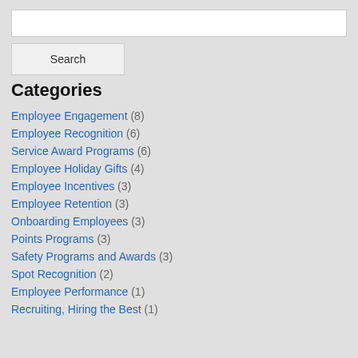Categories
Employee Engagement (8)
Employee Recognition (6)
Service Award Programs (6)
Employee Holiday Gifts (4)
Employee Incentives (3)
Employee Retention (3)
Onboarding Employees (3)
Points Programs (3)
Safety Programs and Awards (3)
Spot Recognition (2)
Employee Performance (1)
Recruiting, Hiring the Best (1)